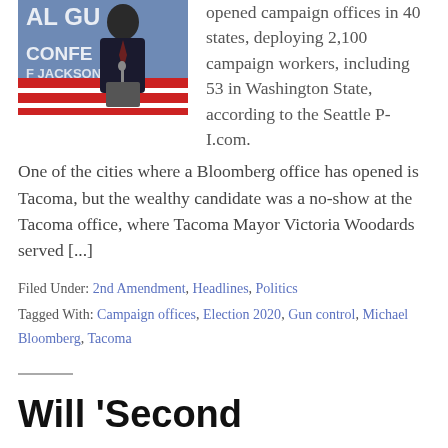[Figure (photo): Photo of a man in a suit speaking at a podium with a red, white and blue sign. Background shows text 'AL GU', 'CONFE', 'F JACKSONV'.]
opened campaign offices in 40 states, deploying 2,100 campaign workers, including 53 in Washington State, according to the Seattle P-I.com. One of the cities where a Bloomberg office has opened is Tacoma, but the wealthy candidate was a no-show at the Tacoma office, where Tacoma Mayor Victoria Woodards served [...]
Filed Under: 2nd Amendment, Headlines, Politics Tagged With: Campaign offices, Election 2020, Gun control, Michael Bloomberg, Tacoma
Will 'Second